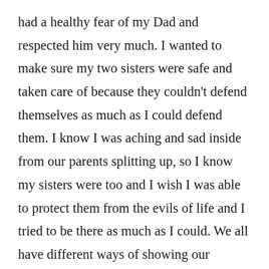had a healthy fear of my Dad and respected him very much. I wanted to make sure my two sisters were safe and taken care of because they couldn't defend themselves as much as I could defend them. I know I was aching and sad inside from our parents splitting up, so I know my sisters were too and I wish I was able to protect them from the evils of life and I tried to be there as much as I could. We all have different ways of showing our sadness or anger. And not letting it out in the proper way